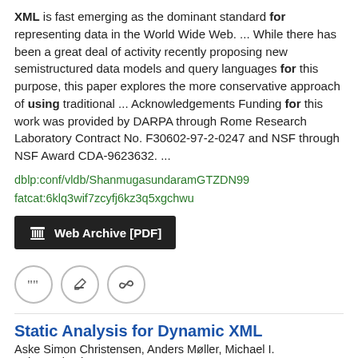XML is fast emerging as the dominant standard for representing data in the World Wide Web.  ...  While there has been a great deal of activity recently proposing new semistructured data models and query languages for this purpose, this paper explores the more conservative approach of using traditional  ...  Acknowledgements Funding for this work was provided by DARPA through Rome Research Laboratory Contract No. F30602-97-2-0247 and NSF through NSF Award CDA-9623632.  ...
dblp:conf/vldb/ShanmugasundaramGTZDN99
fatcat:6klq3wif7zcyfj6kz3q5xgchwu
[Figure (other): Web Archive [PDF] button with Internet Archive column icon]
[Figure (other): Row of three circular icon buttons: cite, edit, link]
Static Analysis for Dynamic XML
Aske Simon Christensen, Anders Møller, Michael I. Schwartzbach
2002 BRICS Report Series
We describe the summary graph lattice for dataflow analysis of programs that dynamically construct XML documents.  ...  Summary graphs have successfully been used to provide static guarantees in